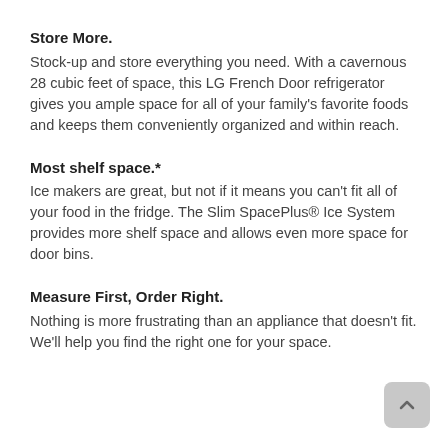Store More.
Stock-up and store everything you need. With a cavernous 28 cubic feet of space, this LG French Door refrigerator gives you ample space for all of your family's favorite foods and keeps them conveniently organized and within reach.
Most shelf space.*
Ice makers are great, but not if it means you can't fit all of your food in the fridge. The Slim SpacePlus® Ice System provides more shelf space and allows even more space for door bins.
Measure First, Order Right.
Nothing is more frustrating than an appliance that doesn't fit. We'll help you find the right one for your space.